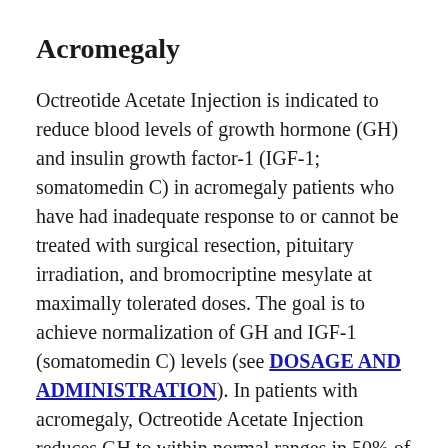Acromegaly
Octreotide Acetate Injection is indicated to reduce blood levels of growth hormone (GH) and insulin growth factor-1 (IGF-1; somatomedin C) in acromegaly patients who have had inadequate response to or cannot be treated with surgical resection, pituitary irradiation, and bromocriptine mesylate at maximally tolerated doses. The goal is to achieve normalization of GH and IGF-1 (somatomedin C) levels (see DOSAGE AND ADMINISTRATION). In patients with acromegaly, Octreotide Acetate Injection reduces GH to within normal ranges in 50% of